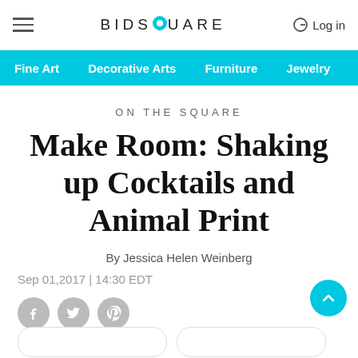BIDSQUARE  Log in
ON THE SQUARE
Make Room: Shaking up Cocktails and Animal Print
By Jessica Helen Weinberg
Sep 01,2017 | 14:30 EDT